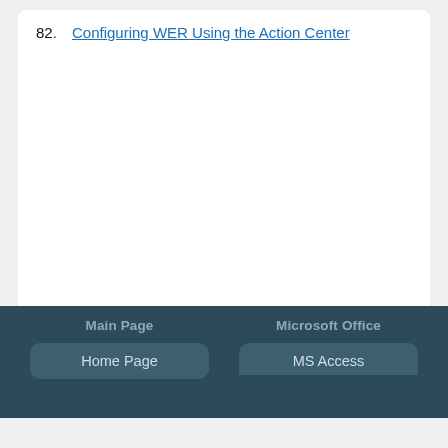82. Configuring WER Using the Action Center
Main Page | Home Page | Microsoft Office | MS Access